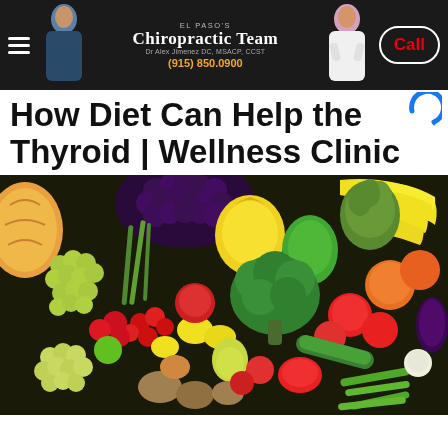El Paso's Chiropractic Team | Dr Alex Jimenez DC, MSACP, CCST | (915) 850.0900 | Call
How Diet Can Help the Thyroid | Wellness Clinic
[Figure (photo): Colorful assortment of fresh fruits and vegetables including grapes, bananas, broccoli, tomatoes, peppers, apples, lemons, and other produce piled together on a dark background]